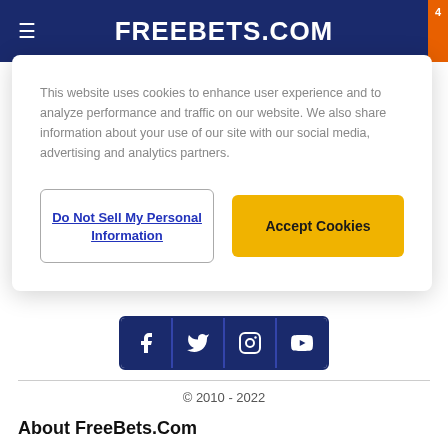FREEBETS.COM
This website uses cookies to enhance user experience and to analyze performance and traffic on our website. We also share information about your use of our site with our social media, advertising and analytics partners.
Do Not Sell My Personal Information
Accept Cookies
[Figure (other): Social media icon bar with Facebook, Twitter, Instagram, and YouTube icons in dark navy blue]
© 2010 - 2022
About FreeBets.Com
Free Bets